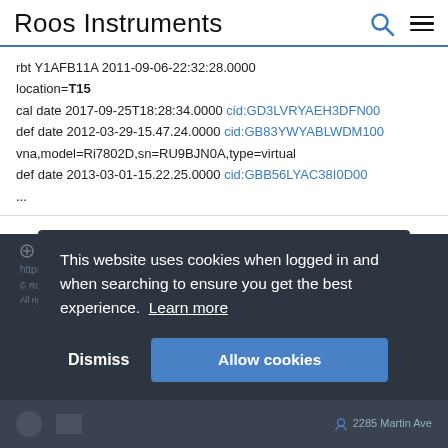Roos Instruments
rbt Y1AFB11A 2011-09-06-22:32:28.0000
location=T15
cal date 2017-09-25T18:28:34.0000 cid:GD3LVRYAEH3DFN00
def date 2012-03-29-15.47.24.0000 cid:GB83YWYABLWDM100
vna,model=Ri7802D,sn=RU9BJN0A,type=virtual
def date 2013-03-01-15.22.25.0000 cid:GBB56LYAC38I0D00
...
This website uses cookies when logged in and when searching to ensure you get the best experience. Learn more
Dismiss
Allow cookies
2285 Martin Ave